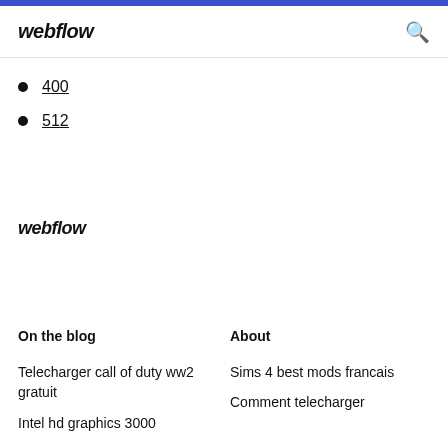webflow
400
512
webflow
On the blog
About
Telecharger call of duty ww2 gratuit
Sims 4 best mods francais
Intel hd graphics 3000
Comment telecharger